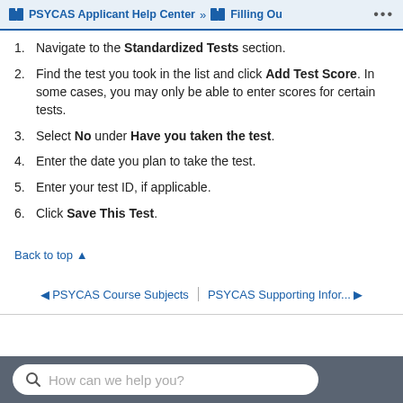PSYCAS Applicant Help Center » Filling Ou ...
Navigate to the Standardized Tests section.
Find the test you took in the list and click Add Test Score. In some cases, you may only be able to enter scores for certain tests.
Select No under Have you taken the test.
Enter the date you plan to take the test.
Enter your test ID, if applicable.
Click Save This Test.
Back to top ▲
◄ PSYCAS Course Subjects | PSYCAS Supporting Infor... ►
How can we help you?